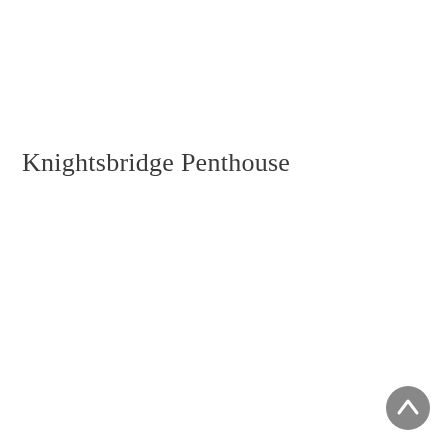Knightsbridge Penthouse
[Figure (other): A circular grey button with an upward-pointing chevron arrow, positioned in the bottom-right corner of the page.]